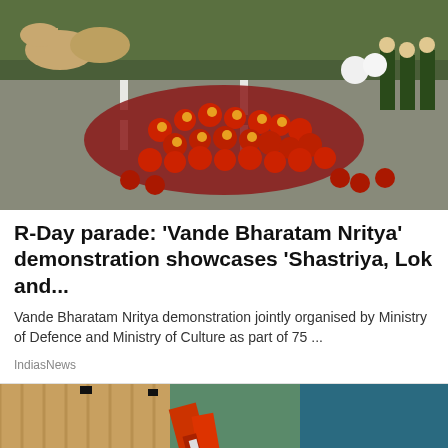[Figure (photo): Aerial view of Republic Day parade showing dancers in red and yellow traditional costumes performing on a street, with camels and military personnel in the background.]
R-Day parade: 'Vande Bharatam Nritya' demonstration showcases 'Shastriya, Lok and...
Vande Bharatam Nritya demonstration jointly organised by Ministry of Defence and Ministry of Culture as part of 75 ...
IndiasNews
[Figure (photo): Construction site showing a red hydraulic excavator arm digging in soil, with a wooden fence panel on the left and a blue structure in the background.]